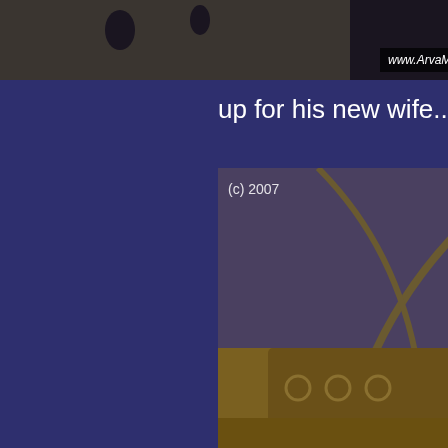[Figure (photo): Partial view of a historical interior, partially cropped at top, with watermark 'www.ArvaMont.com']
This is the t
up for his new wife...
[Figure (photo): Interior of an ornate chapel or church with Gothic arched ceiling, chandelier, golden altar with religious figures, dark wood pews on a green carpet floor. Copyright mark '(c) 2007' in upper left.]
[Figure (photo): Partial view of another interior, darker, with arched architecture. Copyright mark '(c) 2007' in upper left.]